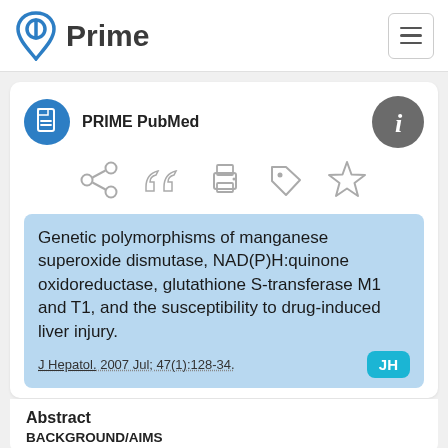Prime
PRIME PubMed
[Figure (infographic): Action icons row: share, quote, print, tag, star]
Genetic polymorphisms of manganese superoxide dismutase, NAD(P)H:quinone oxidoreductase, glutathione S-transferase M1 and T1, and the susceptibility to drug-induced liver injury.
J Hepatol. 2007 Jul; 47(1):128-34.
Abstract
BACKGROUND/AIMS